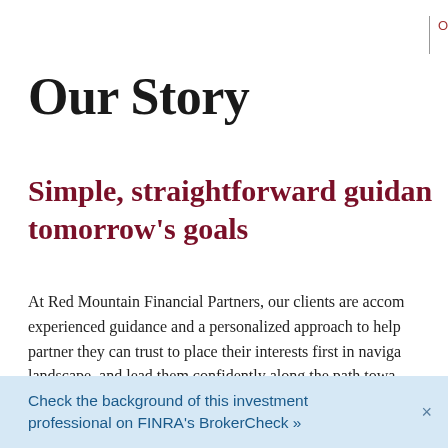O
Our Story
Simple, straightforward guidance for tomorrow's goals
At Red Mountain Financial Partners, our clients are accompanied by experienced guidance and a personalized approach to help find a partner they can trust to place their interests first in navigating the landscape, and lead them confidently along the path towards
Trust
Check the background of this investment professional on FINRA's BrokerCheck »